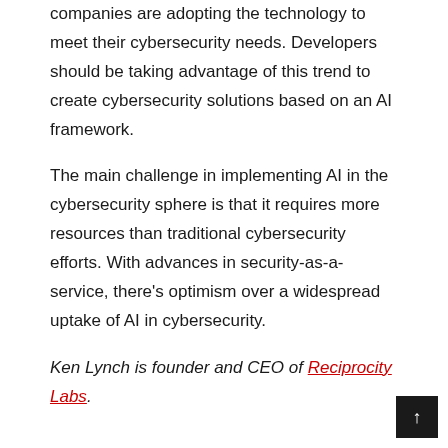companies are adopting the technology to meet their cybersecurity needs. Developers should be taking advantage of this trend to create cybersecurity solutions based on an AI framework.
The main challenge in implementing AI in the cybersecurity sphere is that it requires more resources than traditional cybersecurity efforts. With advances in security-as-a-service, there’s optimism over a widespread uptake of AI in cybersecurity.
Ken Lynch is founder and CEO of Reciprocity Labs.